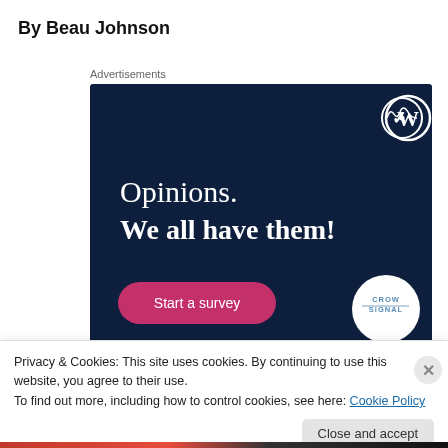By Beau Johnson
Advertisements
[Figure (infographic): Advertisement banner with dark navy background. WordPress logo top right. Text reads 'Opinions. We all have them!' in white serif font. Pink 'Start a survey' button bottom left. Crowdsignal logo bottom right.]
Privacy & Cookies: This site uses cookies. By continuing to use this website, you agree to their use.
To find out more, including how to control cookies, see here: Cookie Policy
Close and accept